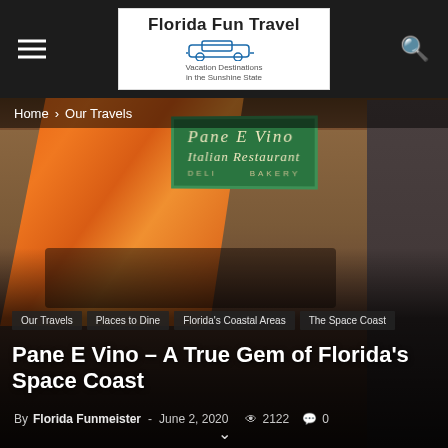Florida Fun Travel – Vacation Destinations in the Sunshine State
Home › Our Travels
[Figure (photo): Interior of Pane E Vino Italian Restaurant showing a green sign reading 'Pane E Vino Italian Restaurant – Deli – Bakery', an orange awning, and restaurant seating area with chairs and tables in the background]
Our Travels
Places to Dine
Florida's Coastal Areas
The Space Coast
Pane E Vino – A True Gem of Florida's Space Coast
By Florida Funmeister - June 2, 2020  2122  0